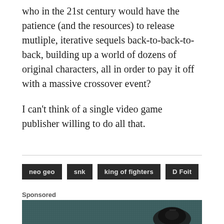who in the 21st century would have the patience (and the resources) to release mutliple, iterative sequels back-to-back-to-back, building up a world of dozens of original characters, all in order to pay it off with a massive crossover event?
I can't think of a single video game publisher willing to do all that.
neo geo
snk
king of fighters
D Foit
Sponsored
[Figure (photo): Close-up photo of a dark teal/green textured surface with a black gaming mouse or device visible at the bottom right]